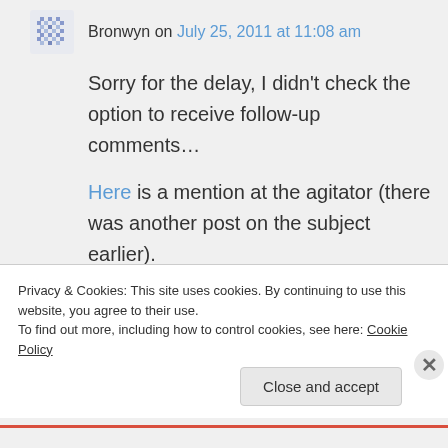Bronwyn on July 25, 2011 at 11:08 am
Sorry for the delay, I didn't check the option to receive follow-up comments…
Here is a mention at the agitator (there was another post on the subject earlier).
That link contains a link to Radley's
Privacy & Cookies: This site uses cookies. By continuing to use this website, you agree to their use.
To find out more, including how to control cookies, see here: Cookie Policy
Close and accept